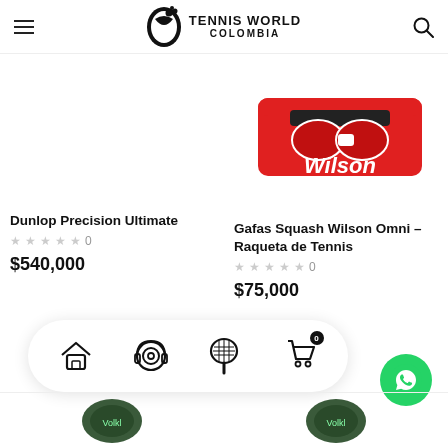Tennis World Colombia - navigation header with hamburger menu, logo, and search icon
[Figure (screenshot): Product listing for Dunlop Precision Ultimate - left column, product image area (empty/white)]
Dunlop Precision Ultimate
★★★★★ 0
$540,000
[Figure (photo): Wilson squash goggles in red packaging - right column product image]
Gafas Squash Wilson Omni – Raqueta de Tennis
★★★★★ 0
$75,000
[Figure (screenshot): Bottom navigation bar with home, headset/categories, racket, and cart (badge: 0) icons on white pill-shaped background]
[Figure (logo): WhatsApp floating button - green circle with WhatsApp phone icon]